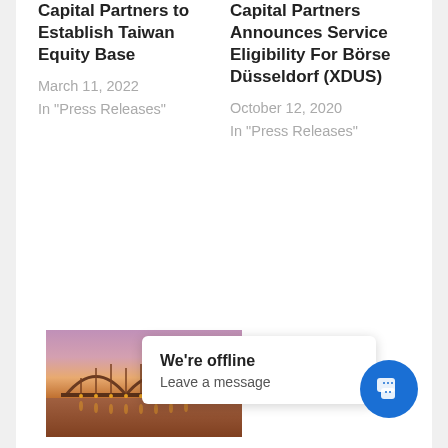Capital Partners to Establish Taiwan Equity Base
March 11, 2022
In "Press Releases"
Capital Partners Announces Service Eligibility For Börse Düsseldorf (XDUS)
October 12, 2020
In "Press Releases"
[Figure (photo): Bridge at dusk with pink/purple sky reflected in water below, warm orange lights on the bridge structure]
High West Capital Partners Announced Today Their Plans To Furt' Expand Their Structured Liquidity
We're offline
Leave a message